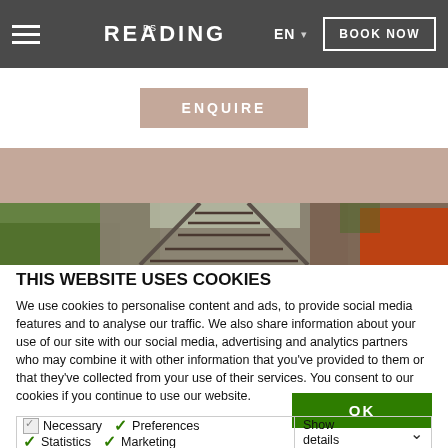PS READING  EN  BOOK NOW
[Figure (screenshot): Enquire button on white background]
[Figure (photo): Railway tracks receding into distance through green foliage, person in orange jacket on right]
THIS WEBSITE USES COOKIES
We use cookies to personalise content and ads, to provide social media features and to analyse our traffic. We also share information about your use of our site with our social media, advertising and analytics partners who may combine it with other information that you've provided to them or that they've collected from your use of their services. You consent to our cookies if you continue to use our website.
OK
Necessary  Preferences  Statistics  Marketing  Show details